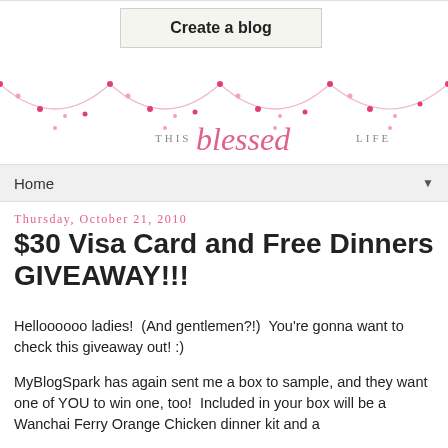[Figure (screenshot): Blog navigation button labeled 'Create a blog' with light beige background and border]
[Figure (illustration): Decorative blog banner with pink swag/garland design and cursive text reading 'this blessed life']
Home ▼
Thursday, October 21, 2010
$30 Visa Card and Free Dinners GIVEAWAY!!!
Helloooo ladies!  (And gentlemen?!)  You're gonna want to check this giveaway out! :)
MyBlogSpark has again sent me a box to sample, and they want one of YOU to win one, too!  Included in your box will be a Wanchai Ferry Orange Chicken dinner kit and a